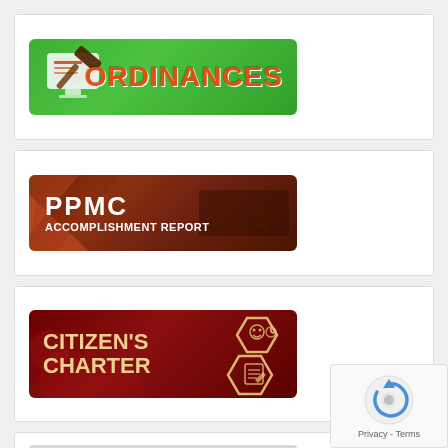[Figure (illustration): Green banner with 'ORDINANCES' text in orange-red with a computer/gavel icon on the left]
[Figure (illustration): Dark brown/maroon banner with 'PPMC ACCOMPLISHMENT REPORT' text in white with geometric shapes]
[Figure (illustration): Dark red banner with 'CITIZEN'S CHARTER' text in cream/gold with hexagonal icons]
[Figure (illustration): Partial gray banner at the bottom, partially obscured by reCAPTCHA overlay]
[Figure (other): Google reCAPTCHA widget overlay in bottom-right corner with 'Privacy - Terms' text]